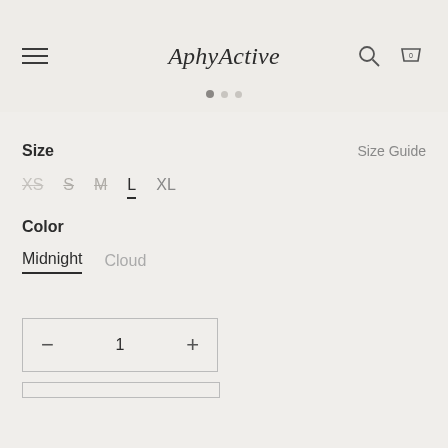AphyActive
Size
Size Guide
XS  S  M  L  XL — size options, L selected
Color
Midnight  Cloud — color options, Midnight selected
1 — quantity selector with − and + buttons